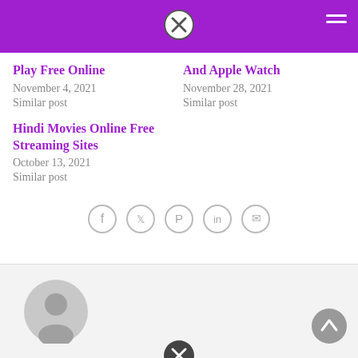Navigation bar with close button and hamburger menu
Play Free Online
November 4, 2021
Similar post
And Apple Watch
November 28, 2021
Similar post
Hindi Movies Online Free Streaming Sites
October 13, 2021
Similar post
[Figure (infographic): Social sharing icons row: Facebook, Twitter, Pinterest, LinkedIn, Email — each in a grey circle outline]
[Figure (illustration): Default user avatar — grey circle silhouette with head and shoulders]
[Figure (other): Scroll-to-top button (grey circle with upward chevron) at bottom right]